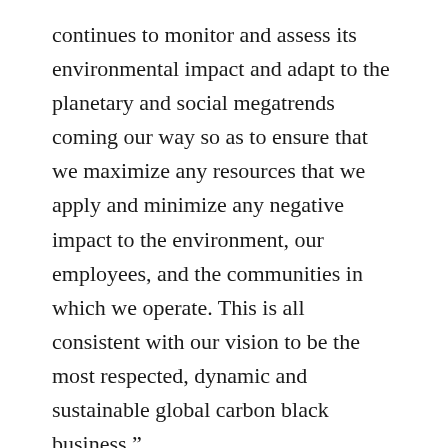continues to monitor and assess its environmental impact and adapt to the planetary and social megatrends coming our way so as to ensure that we maximize any resources that we apply and minimize any negative impact to the environment, our employees, and the communities in which we operate. This is all consistent with our vision to be the most respected, dynamic and sustainable global carbon black business.”
EcoVadis is a collaborative platform enabling companies to monitor the sustainable performance of their suppliers. EcoVadis uses their unique CSR assessment system with a methodology covering 150 purchasing categories, 110 countries, and 21 CSR indicators. The system analyses and evaluates company performance...